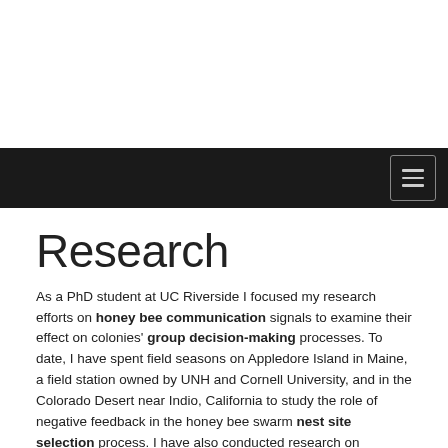[Figure (other): White top area of webpage]
[Figure (screenshot): Dark navigation bar with hamburger menu icon on the right]
Research
As a PhD student at UC Riverside I focused my research efforts on honey bee communication signals to examine their effect on colonies' group decision-making processes. To date, I have spent field seasons on Appledore Island in Maine, a field station owned by UNH and Cornell University, and in the Colorado Desert near Indio, California to study the role of negative feedback in the honey bee swarm nest site selection process. I have also conducted research on